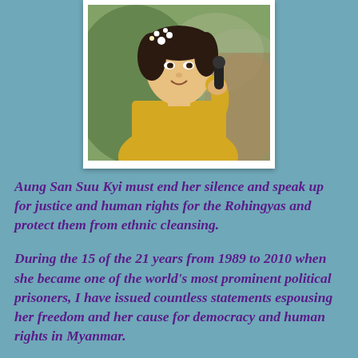[Figure (photo): Photo of Aung San Suu Kyi wearing a yellow outfit and white flowers in her hair, holding a microphone and smiling, with a blurred outdoor background.]
Aung San Suu Kyi must end her silence and speak up for justice and human rights for the Rohingyas and protect them from ethnic cleansing.
During the 15 of the 21 years from 1989 to 2010 when she became one of the world's most prominent political prisoners, I have issued countless statements espousing her freedom and her cause for democracy and human rights in Myanmar.
It is heart-breaking to watch her silence and